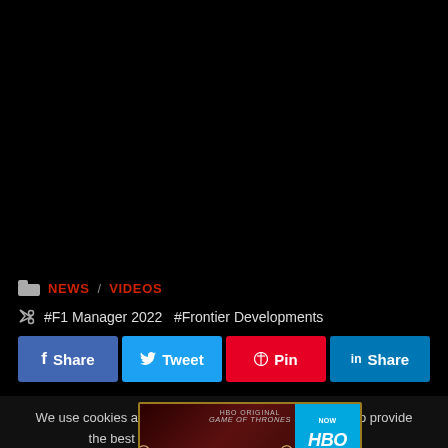[Figure (other): Large black area at top of page, video placeholder]
NEWS  VIDEOS
#F1 Manager 2022  #Frontier Developments
Share  Tweet  Pin  Share
We use cookies and other data collection technologies to provide the best exp... request that your data no... Do Not Sell My
[Figure (screenshot): House of the Dragon HBO advertisement overlay with golden border, dark red background, and HBO logo in blue]